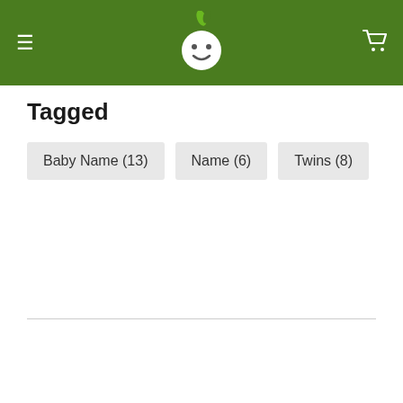BabyEarth site header with logo, hamburger menu, and cart icon
Tagged
Baby Name (13)
Name (6)
Twins (8)
Advertisement
BabyEarth.com earns a commission from qualifying purchases through our affiliate partners. For more information, check out our Privacy Policy & Disclosure page.